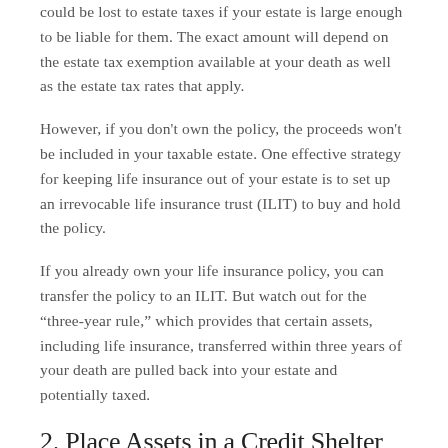could be lost to estate taxes if your estate is large enough to be liable for them. The exact amount will depend on the estate tax exemption available at your death as well as the estate tax rates that apply.
However, if you don't own the policy, the proceeds won't be included in your taxable estate. One effective strategy for keeping life insurance out of your estate is to set up an irrevocable life insurance trust (ILIT) to buy and hold the policy.
If you already own your life insurance policy, you can transfer the policy to an ILIT. But watch out for the “three-year rule,” which provides that certain assets, including life insurance, transferred within three years of your death are pulled back into your estate and potentially taxed.
2. Place Assets in a Credit Shelter Trust
Designating your spouse as your sole beneficiary